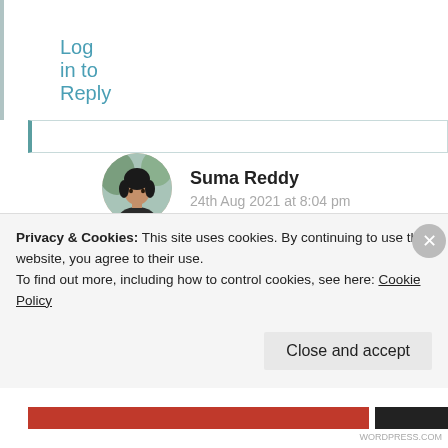Log in to Reply
[Figure (photo): Circular avatar photo of Suma Reddy, a woman with dark hair]
Suma Reddy
24th Aug 2021 at 8:04 pm
Your thoughts are soo sweet. Yes life is always like that with mixtur of bitter n sweet taste. Thank you.much for reading n sharing your lovely words.
Privacy & Cookies: This site uses cookies. By continuing to use this website, you agree to their use.
To find out more, including how to control cookies, see here: Cookie Policy
Close and accept